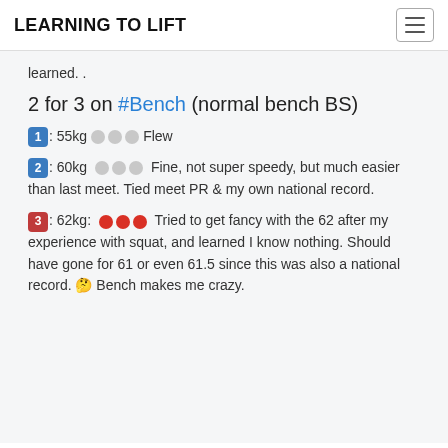LEARNING TO LIFT
learned. .
2 for 3 on #Bench (normal bench BS)
1: 55kg ○ ○ ○ Flew
2: 60kg ○ ○ ○ Fine, not super speedy, but much easier than last meet. Tied meet PR & my own national record.
3: 62kg: ● ● ● Tried to get fancy with the 62 after my experience with squat, and learned I know nothing. Should have gone for 61 or even 61.5 since this was also a national record. 🤔 Bench makes me crazy.